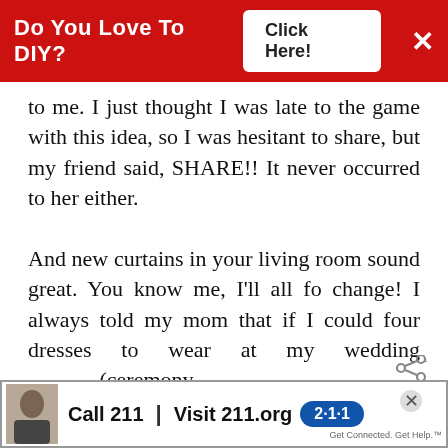Do You Love To DIY? Click Here! ×
to me. I just thought I was late to the game with this idea, so I was hesitant to share, but my friend said, SHARE!! It never occurred to her either.

And new curtains in your living room sound great. You know me, I'll all fo change! I always told my mom that if I could four dresses to wear at my wedding (ceremony
[Figure (screenshot): What's Next promo box with circular image and text 'The Best Way To Clean...']
Call 211 | Visit 211.org [2·1·1 badge]